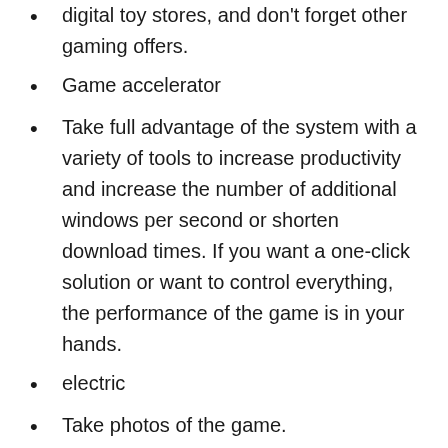digital toy stores, and don't forget other gaming offers.
Game accelerator
Take full advantage of the system with a variety of tools to increase productivity and increase the number of additional windows per second or shorten download times. If you want a one-click solution or want to control everything, the performance of the game is in your hands.
electric
Take photos of the game.
Defrag will keep track of sports reports and prepare them to operate efficiently.
Simplify your technique to increase device performance by using it efficiently